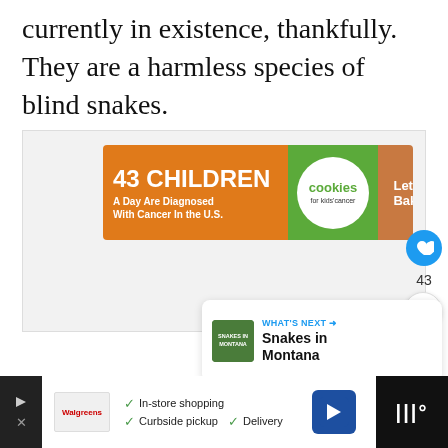currently in existence, thankfully. They are a harmless species of blind snakes.
[Figure (other): Advertisement banner: '43 CHILDREN A Day Are Diagnosed With Cancer In the U.S.' with cookies for kids' cancer branding and 'Let's Get Baking' call to action]
[Figure (other): UI elements: heart/like button (blue circle with heart icon), like count '43', share button (circle with share icon)]
[Figure (other): WHAT'S NEXT card with thumbnail and title 'Snakes in Montana']
[Figure (other): Bottom advertisement bar with Walgreens logo, checkmarks for In-store shopping, Curbside pickup, Delivery, navigation icon, and wave/music app icon]